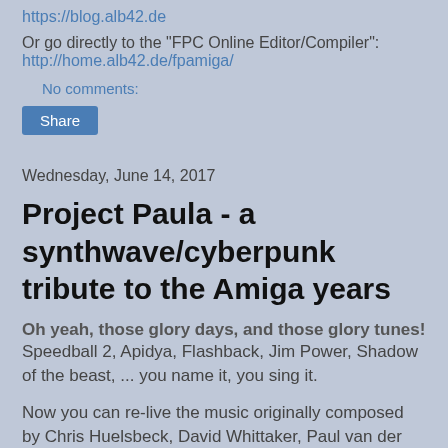https://blog.alb42.de
Or go directly to the "FPC Online Editor/Compiler":
http://home.alb42.de/fpamiga/
No comments:
Share
Wednesday, June 14, 2017
Project Paula - a synthwave/cyberpunk tribute to the Amiga years
Oh yeah, those glory days, and those glory tunes! Speedball 2, Apidya, Flashback, Jim Power, Shadow of the beast, ... you name it, you sing it.
Now you can re-live the music originally composed by Chris Huelsbeck, David Whittaker, Paul van der Valk, Ron Klaren, Stéphane Picq and others, for games including Dune, Turrican 3, Battle squadron, Unreal, One step beyond, and